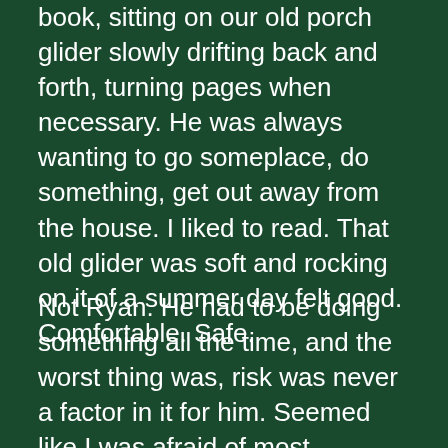book, sitting on our old porch glider slowly drifting back and forth, turning pages when necessary. He was always wanting to go someplace, do something, get out away from the house. I liked to read. That old glider was soft and rocking on it of a summer day felt good. Comfortable. Safe.
Not Ryan. He had to be doing something all the time, and the worst thing was, risk was never a factor in it for him. Seemed like I was afraid of most everything, if you'd listened to him. I wasn't afraid. I just was able to imagine the danger in things. He never seemed to imagine anything.